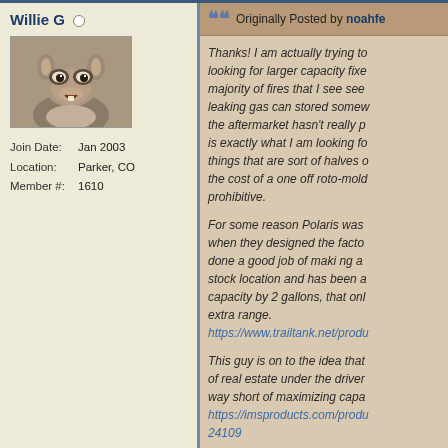Willie G
[Figure (photo): Avatar image of an animated squirrel-like character (Scrat from Ice Age)]
Join Date: Jan 2003
Location: Parker, CO
Member #: 1610
Originally Posted by noahfe
Thanks! I am actually trying to looking for larger capacity fixe majority of fires that I see see leaking gas can stored somew the aftermarket hasn't really p is exactly what I am looking fo things that are sort of halves o the cost of a one off roto-mold prohibitive.
For some reason Polaris was when they designed the facto done a good job of maki ng a stock location and has been a capacity by 2 gallons, that onl extra range.
https://www.trailtank.net/produ
This guy is on to the idea that of real estate under the driver way short of maximizing capa https://imsproducts.com/produ 24109
My thought would be to make molded tank that took advanta real estate and gave me a ca